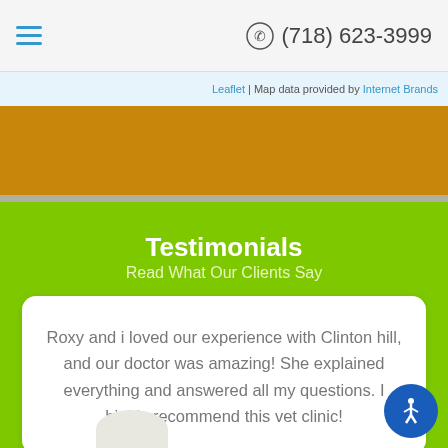(718) 623-3999
Leaflet | Map data provided by Internet Brands
Testimonials
Read What Our Clients Say
Roxy and i loved our experience with Clinton hill, and our doctor was amazing! She explained everything and answered all my questions. I highly recommend this vet clinic!